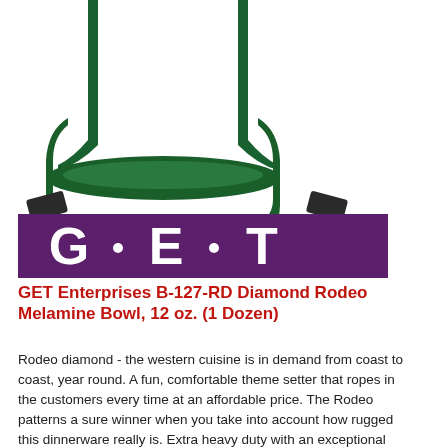[Figure (logo): GET Enterprises logo showing a dark green bowl with diamond/rodeo pattern above a purple banner with white block letters G·E·T]
GET Enterprises B-127-RD Diamond Rodeo Melamine Bowl, 12 oz. (1 Dozen)
Rodeo diamond - the western cuisine is in demand from coast to coast, year round. A fun, comfortable theme setter that ropes in the customers every time at an affordable price. The Rodeo patterns a sure winner when you take into account how rugged this dinnerware really is. Extra heavy duty with an exceptional glaze to prevent stains and backed by a 2 year warranty against